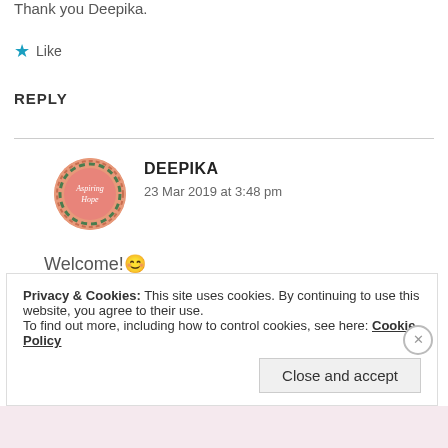Thank you Deepika.
★ Like
REPLY
[Figure (photo): Circular avatar photo with 'Aspiring Hope' text on a coral/peach background with floral border]
DEEPIKA
23 Mar 2019 at 3:48 pm
Welcome! 😊
Privacy & Cookies: This site uses cookies. By continuing to use this website, you agree to their use.
To find out more, including how to control cookies, see here: Cookie Policy
Close and accept